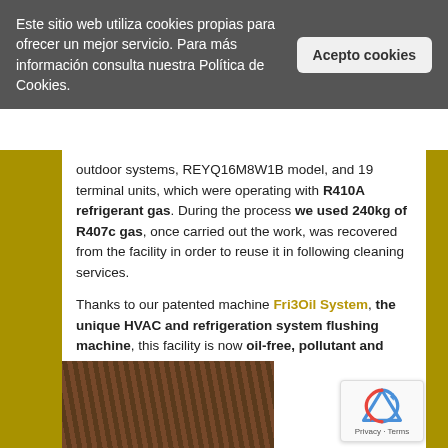Este sitio web utiliza cookies propias para ofrecer un mejor servicio. Para más información consulta nuestra Política de Cookies.
outdoor systems, REYQ16M8W1B model, and 19 terminal units, which were operating with R410A refrigerant gas. During the process we used 240kg of R407c gas, once carried out the work, was recovered from the facility in order to reuse it in following cleaning services.
Thanks to our patented machine Fri3Oil System, the unique HVAC and refrigeration system flushing machine, this facility is now oil-free, pollutant and acids free.
[Figure (photo): Photo of refrigeration system pipes and components, brownish copper tubing visible]